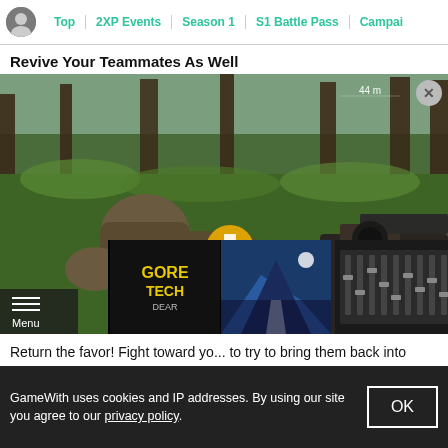Top | 2XP Events | Season 1 | S1 Battle Pass | Campai
Revive Your Teammates As Well
[Figure (screenshot): First-person shooter game screenshot showing a player reviving a downed teammate in a forest environment. A yellow cross/revive icon and the word 'Reviving' appear in the center of the screen. Distance indicator '44 m' visible at top. Player holds a rifle in right hand.]
Return the favor! Fight toward yo... to try to bring them back into the... interactions key to bring teamma...
GameWith uses cookies and IP addresses. By using our site you agree to our privacy policy.